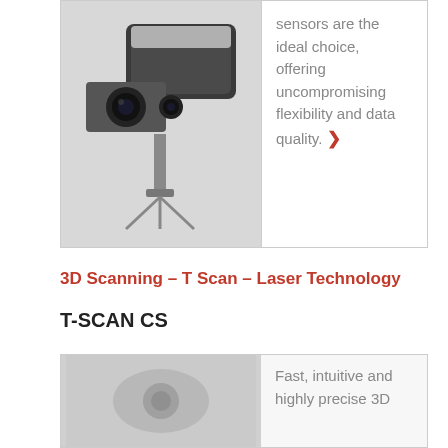[Figure (photo): Photo of a 3D scanning device (T-Scan) mounted on a tripod, with camera-like lenses, in a box layout with descriptive text to the right.]
sensors are the ideal choice, offering uncompromising flexibility and data quality.
3D Scanning – T Scan – Laser Technology
T-SCAN CS
[Figure (photo): Partial view of a 3D scanner product image, bottom portion, with descriptive text: Fast, intuitive and highly precise 3D]
Fast, intuitive and highly precise 3D